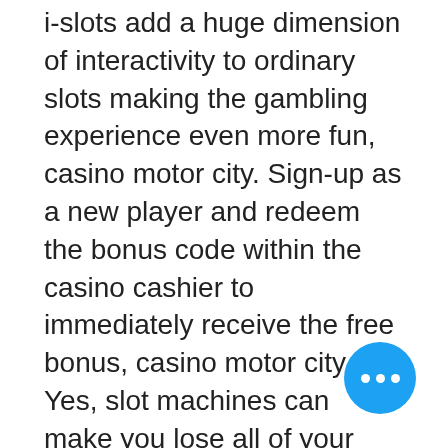i-slots add a huge dimension of interactivity to ordinary slots making the gambling experience even more fun, casino motor city. Sign-up as a new player and redeem the bonus code within the casino cashier to immediately receive the free bonus, casino motor city. Yes, slot machines can make you lose all of your money if you dont't play carefully, youtube casino free slots cleopatra. In many casinos, players need to play through their bonus several times before withdrawing the amount. However, if they land a big win from. You just won't be able to cash out all of the money from your good fortune. On average, mobile casinos limit how much you can withdraw through a. There are also some offers where you have to pay no wagering requirements. So, whatever you win goes into your bank account if you withdraw. Every no dep... bonus on our list allows you to win real money. Because they are 100% free to